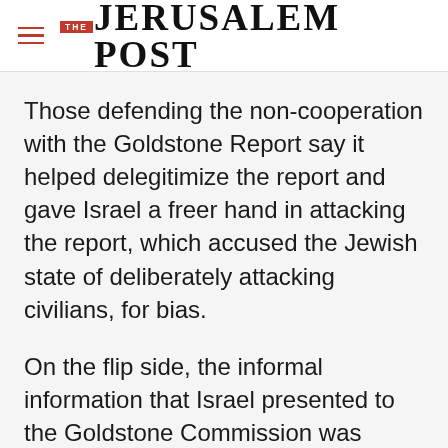THE JERUSALEM POST
Those defending the non-cooperation with the Goldstone Report say it helped delegitimize the report and gave Israel a freer hand in attacking the report, which accused the Jewish state of deliberately attacking civilians, for bias.
On the flip side, the informal information that Israel presented to the Goldstone Commission was essentially ignored since it was not
Advertisement